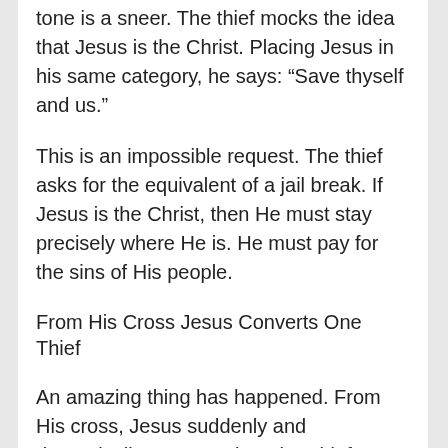tone is a sneer. The thief mocks the idea that Jesus is the Christ. Placing Jesus in his same category, he says: “Save thyself and us.”
This is an impossible request. The thief asks for the equivalent of a jail break. If Jesus is the Christ, then He must stay precisely where He is. He must pay for the sins of His people.
From His Cross Jesus Converts One Thief
An amazing thing has happened. From His cross, Jesus suddenly and dramatically converts the other thief. We immediately see the evidence of the Spirit’s saving work in the elect thief’s heart. His anxious rebuke of his partner is the first evidence of saving faith. Indignation makes him